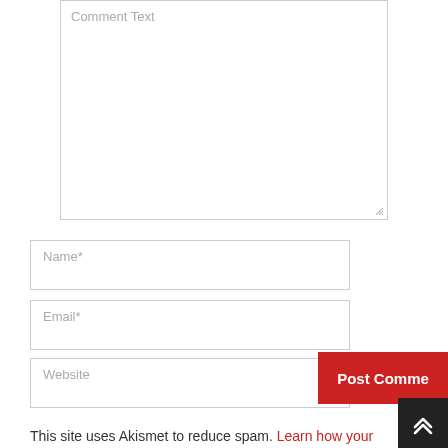[Figure (screenshot): Comment text textarea input field with resize handle in bottom right corner]
[Figure (screenshot): Name* text input field]
[Figure (screenshot): Email* text input field]
[Figure (screenshot): Website text input field]
[Figure (screenshot): Post Comment button in red, partially visible, and a dark scroll-to-top button with chevron arrows]
This site uses Akismet to reduce spam. Learn how your